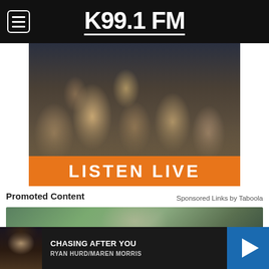K99.1 FM
[Figure (photo): K99.1 FM Listen Live banner with country music artists group photo and orange Listen Live button]
Promoted Content
Sponsored Links by Taboola
[Figure (photo): Promoted content image showing a child outdoors]
[Figure (photo): Now playing bar showing Chasing After You by Ryan Hurd/Maren Morris with play button]